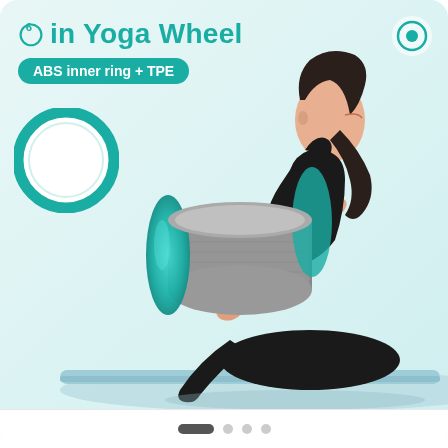6in Yoga Wheel
ABS inner ring + TPE
[Figure (photo): A woman in black athletic wear performing a yoga pose (bow pose variation), holding a gray and teal yoga wheel behind her back while sitting on a light blue yoga mat against a white/light blue background. The yoga wheel is cylindrical with a gray textured outer surface and teal inner ring visible.]
[Figure (illustration): Diagram of yoga wheel cross-section showing a white interior circle surrounded by a teal/turquoise ring border, illustrating the ABS inner ring + TPE construction.]